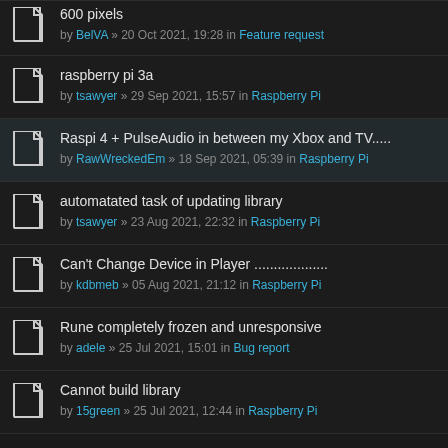600 pixels by BelVA » 20 Oct 2021, 19:28 in Feature request
raspberry pi 3a by tsawyer » 29 Sep 2021, 15:57 in Raspberry Pi
Raspi 4 + PulseAudio in between my Xbox and TV..... by RawWreckedEm » 18 Sep 2021, 05:39 in Raspberry Pi
automatated task of updating library by tsawyer » 23 Aug 2021, 22:32 in Raspberry Pi
Can't Change Device in Player .................. by kdbmeb » 05 Aug 2021, 21:12 in Raspberry Pi
Rune completely frozen and unresponsive by adele » 25 Jul 2021, 15:01 in Bug report
Cannot build library by 15green » 25 Jul 2021, 12:44 in Raspberry Pi